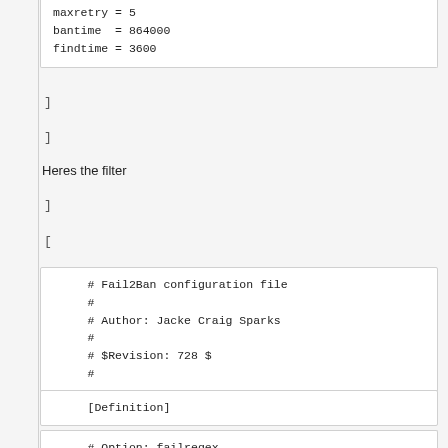maxretry = 5
bantime  = 864000
findtime = 3600
]
]
Heres the filter
]
[
# Fail2Ban configuration file
#
# Author: Jacke Craig Sparks
#
# $Revision: 728 $
#
[Definition]
# Option: failregex
# Notes.: regex to match